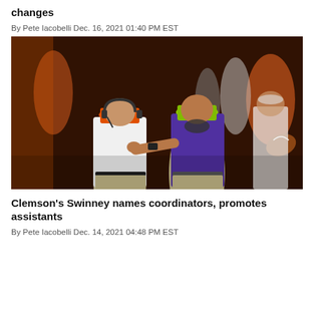changes
By Pete Iacobelli Dec. 16, 2021 01:40 PM EST
[Figure (photo): Two football coaches on the sideline, one wearing an orange cap and white shirt, the other wearing a green cap and purple shirt pointing at something, with players and other staff in orange uniforms in the background.]
Clemson's Swinney names coordinators, promotes assistants
By Pete Iacobelli Dec. 14, 2021 04:48 PM EST